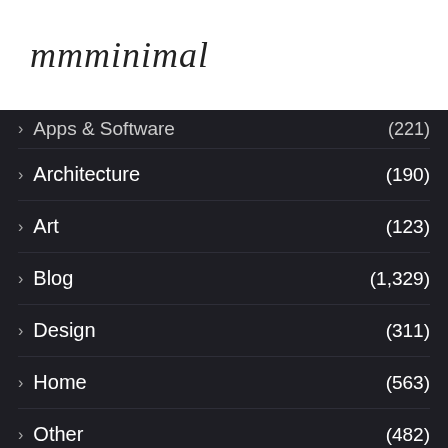mmminimal
> Apps & Software (221)
> Architecture (190)
> Art (123)
> Blog (1,329)
> Design (311)
> Home (563)
> Other (482)
[Figure (screenshot): Seamless food delivery advertisement banner with pizza image on left, Seamless logo in red, and ORDER NOW button on right]